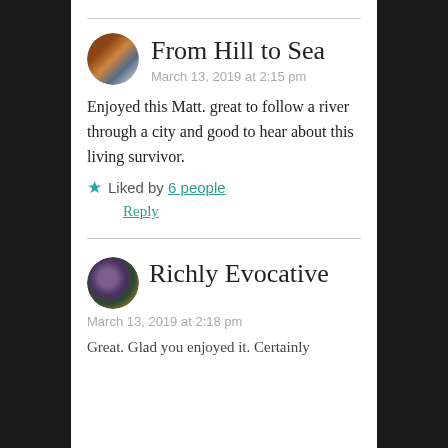From Hill to Sea
March 13, 2019 at 2:15 pm
Enjoyed this Matt. great to follow a river through a city and good to hear about this living survivor.
★ Liked by 6 people
Reply
Richly Evocative
March 13, 2019 at 2:18 pm
Great. Glad you enjoyed it. Certainly